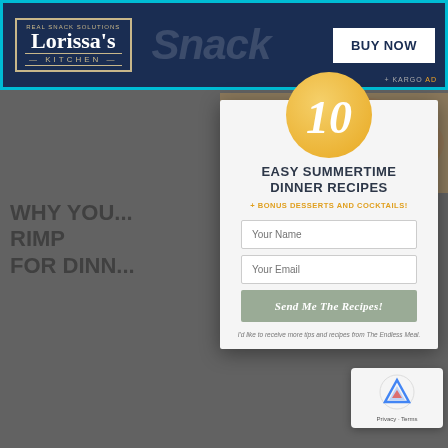[Figure (screenshot): Lorissa's Kitchen ad banner with dark navy background, logo, 'Snack' watermark text, and BUY NOW button]
[Figure (photo): Close-up of a colorful salad or noodle dish with shrimp]
WHY YOU... RIMP FOR DINN...
[Figure (screenshot): Email signup modal with gold '10' circle, '10 EASY SUMMERTIME DINNER RECIPES + BONUS DESSERTS AND COCKTAILS!' text, Your Name field, Your Email field, Send Me The Recipes! button, and disclaimer text]
I'd like to receive more tips and recipes from The Endless Meal.
[Figure (screenshot): Google reCAPTCHA badge showing Privacy and Terms links]